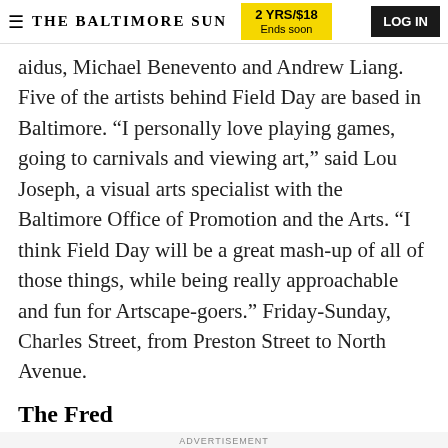THE BALTIMORE SUN | 2 YRS/$18 Ends soon | LOG IN
aidus, Michael Benevento and Andrew Liang. Five of the artists behind Field Day are based in Baltimore. "I personally love playing games, going to carnivals and viewing art," said Lou Joseph, a visual arts specialist with the Baltimore Office of Promotion and the Arts. "I think Field Day will be a great mash-up of all of those things, while being really approachable and fun for Artscape-goers." Friday-Sunday, Charles Street, from Preston Street to North Avenue.
The Fred
ADVERTISEMENT
[Figure (logo): Tribune Publishing logo in blue box]